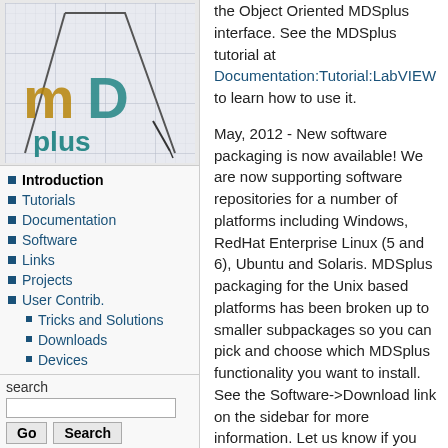[Figure (logo): MDSplus logo with stylized text on graph paper background]
Introduction
Tutorials
Documentation
Software
Links
Projects
User Contrib.
Tricks and Solutions
Downloads
Devices
search
the Object Oriented MDSplus interface. See the MDSplus tutorial at Documentation:Tutorial:LabVIEW to learn how to use it.

May, 2012 - New software packaging is now available! We are now supporting software repositories for a number of platforms including Windows, RedHat Enterprise Linux (5 and 6), Ubuntu and Solaris. MDSplus packaging for the Unix based platforms has been broken up to smaller subpackages so you can pick and choose which MDSplus functionality you want to install. See the Software->Download link on the sidebar for more information. Let us know if you run into any trouble with the new download system.